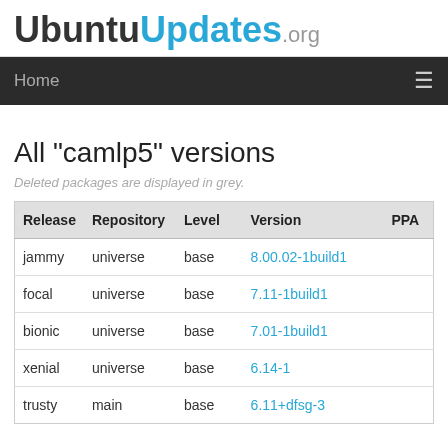UbuntuUpdates.org
Home
All "camlp5" versions
Deleted packages are displayed in grey.
| Release | Repository | Level | Version | PPA |
| --- | --- | --- | --- | --- |
| jammy | universe | base | 8.00.02-1build1 |  |
| focal | universe | base | 7.11-1build1 |  |
| bionic | universe | base | 7.01-1build1 |  |
| xenial | universe | base | 6.14-1 |  |
| trusty | main | base | 6.11+dfsg-3 |  |